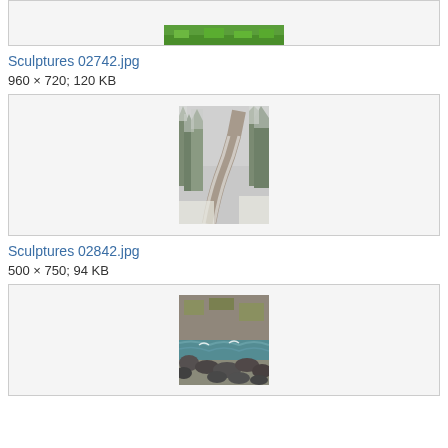[Figure (photo): Top partial image box showing green grass/landscape at very top of page]
Sculptures 02742.jpg
960 × 720; 120 KB
[Figure (photo): Photo of a winding road through snowy pine forest with misty mountains]
Sculptures 02842.jpg
500 × 750; 94 KB
[Figure (photo): Photo of a rocky riverbank with rushing turquoise water and cliff face]